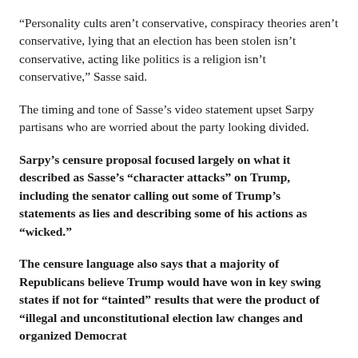“Personality cults aren’t conservative, conspiracy theories aren’t conservative, lying that an election has been stolen isn’t conservative, acting like politics is a religion isn’t conservative,” Sasse said.
The timing and tone of Sasse’s video statement upset Sarpy partisans who are worried about the party looking divided.
Sarpy’s censure proposal focused largely on what it described as Sasse’s “character attacks” on Trump, including the senator calling out some of Trump’s statements as lies and describing some of his actions as “wicked.”
The censure language also says that a majority of Republicans believe Trump would have won in key swing states if not for “tainted” results that were the product of “illegal and unconstitutional election law changes and organized Democrat